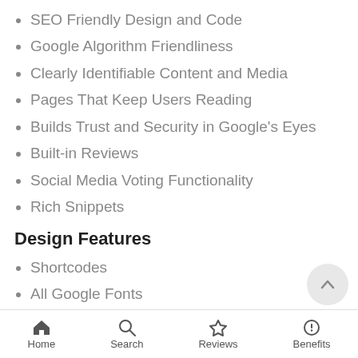SEO Friendly Design and Code
Google Algorithm Friendliness
Clearly Identifiable Content and Media
Pages That Keep Users Reading
Builds Trust and Security in Google's Eyes
Built-in Reviews
Social Media Voting Functionality
Rich Snippets
Design Features
Shortcodes
All Google Fonts
[Figure (screenshot): Popup box with download icon (cloud with down arrow on teal circle), text 'Download 3 WordPress themes & plugins with lifetime access for FREE!' and a 'Click here to Join' orange link. Close button X in top right.]
Home  Search  Reviews  Benefits